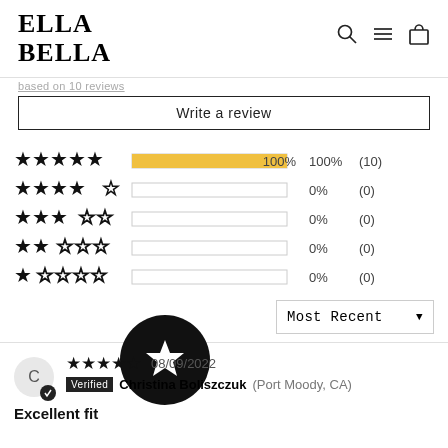ELLA BELLA
based on 10 reviews
Write a review
[Figure (bar-chart): Star rating distribution]
Most Recent
08/09/2022
Verified  Christina Boliszczuk (Port Moody, CA)
Excellent fit